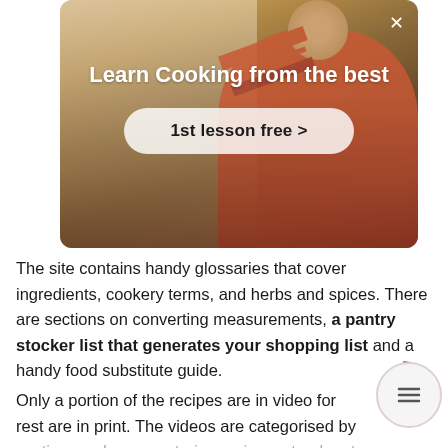[Figure (screenshot): Modal overlay with video background showing a person in a red top with arms extended in a kitchen/cooking setting. Contains title 'Learn Cooking from the best' and a CTA button '1st lesson free >' with a close X button in top right.]
The site contains handy glossaries that cover ingredients, cookery terms, and herbs and spices. There are sections on converting measurements, a pantry stocker list that generates your shopping list and a handy food substitute guide.
Only a portion of the recipes are in video form, the rest are in print. The videos are categorised by section, such as vegetarian recipes, step-by-step